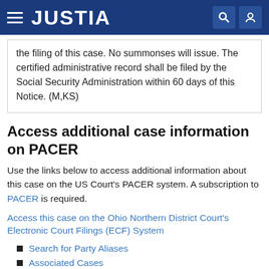JUSTIA
the filing of this case. No summonses will issue. The certified administrative record shall be filed by the Social Security Administration within 60 days of this Notice. (M,KS)
Access additional case information on PACER
Use the links below to access additional information about this case on the US Court's PACER system. A subscription to PACER is required.
Access this case on the Ohio Northern District Court's Electronic Court Filings (ECF) System
Search for Party Aliases
Associated Cases